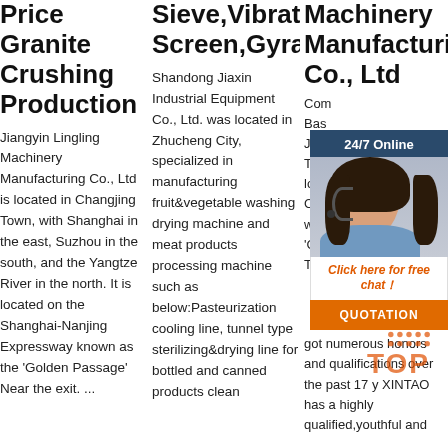Price Granite Crushing Production
Jiangyin Lingling Machinery Manufacturing Co., Ltd is located in Changjing Town, with Shanghai in the east, Suzhou in the south, and the Yangtze River in the north. It is located on the Shanghai-Nanjing Expressway known as the 'Golden Passage' Near the exit. ...
Sieve,Vibrating Screen,Gyratory
Shandong Jiaxin Industrial Equipment Co., Ltd. was located in Zhucheng City, specialized in manufacturing fruit&vegetable washing drying machine and meat products processing machine such as below:Pasteurization cooling line, tunnel type sterilizing&drying line for bottled and canned products clean
Machinery Manufacturin Co., Ltd
[Figure (photo): Chat widget with woman wearing headset, 24/7 Online header, Click here for free chat link, and QUOTATION button]
Com Bas Jian Tec loca City whic 'Che Tow
got numerous honors and qualifications over the past 17 y XINTAO has a highly qualified,youthful and